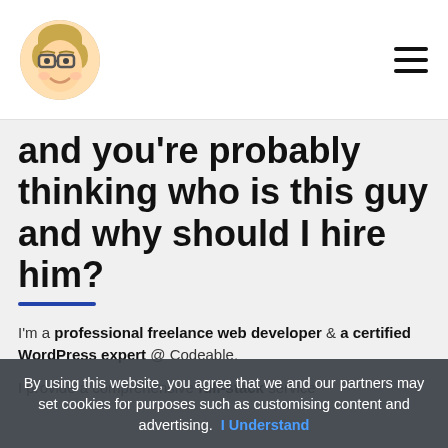[Avatar emoji icon] [Hamburger menu icon]
and you're probably thinking who is this guy and why should I hire him?
I'm a professional freelance web developer & a certified WordPress expert @ Codeable.
I provide a comprehensive full-stack service for small to medium sized businesses and private individuals across the globe. My experience as a full-stack WordPress developer gives me the ability to handle entire projects from idea to
By using this website, you agree that we and our partners may set cookies for purposes such as customising content and advertising.  I Understand